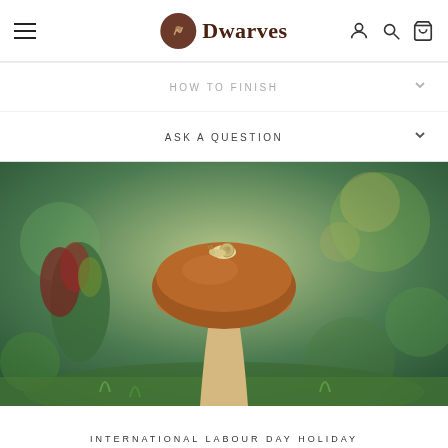Dwarves (logo with hamburger menu, account, search, cart icons)
HOW TO FINISH
ASK A QUESTION
[Figure (photo): A mushroom with a small snail sitting on top of its brown cap, surrounded by blurred green foliage and bokeh background in a forest setting.]
INTERNATIONAL LABOUR DAY HOLIDAY